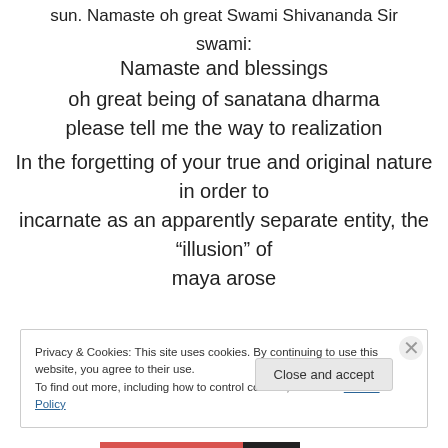sun. Namaste oh great Swami Shivananda Sir
swami:
Namaste and blessings
oh great being of sanatana dharma
please tell me the way to realization
In the forgetting of your true and original nature in order to incarnate as an apparently separate entity, the “illusion” of maya arose
Privacy & Cookies: This site uses cookies. By continuing to use this website, you agree to their use.
To find out more, including how to control cookies, see here: Cookie Policy